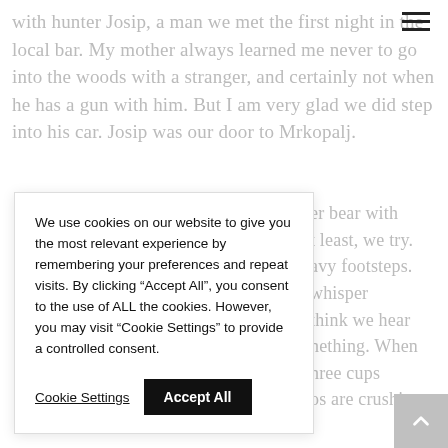with hunter Josip, a man we met the first night in the local bar. My mother always learned me never to go into the woods with a stranger, and certainly not when he has a gun with him. But I am very glad we did step into his car. Josip was our door to Mrkopalj.
We use cookies on our website to give you the most relevant experience by remembering your preferences and repeat visits. By clicking "Accept All", you consent to the use of ALL the cookies. However, you may visit "Cookie Settings" to provide a controlled consent.
er bear with t least, we try. avy footsteps. whisper think we hear nething. When hree cups os are crushing